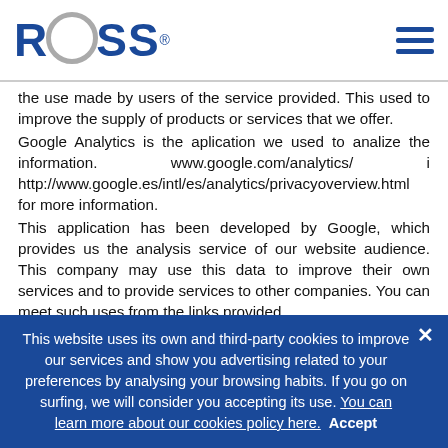ROSS® [logo with hamburger menu icon]
the use made by users of the service provided. This used to improve the supply of products or services that we offer.
Google Analytics is the aplication we used to analize the information. www.google.com/analytics/ i http://www.google.es/intl/es/analytics/privacyoverview.html for more information.
This application has been developed by Google, which provides us the analysis service of our website audience. This company may use this data to improve their own services and to provide services to other companies. You can meet such uses from the links provided.
This tool does not collect personal data. The information obtained is related for example to the number of pages visited, language, social network in which our news is published, the IP address or the operating system address from which you access and the browser you use to validate us, and recurrent visits. We also show you the country and browser you use, as well as the company with which the check is performed.
This website uses its own and third-party cookies to improve our services and show you advertising related to your preferences by analysing your browsing habits. If you go on surfing, we will consider you accepting its use. You can learn more about our cookies policy here.  Accept